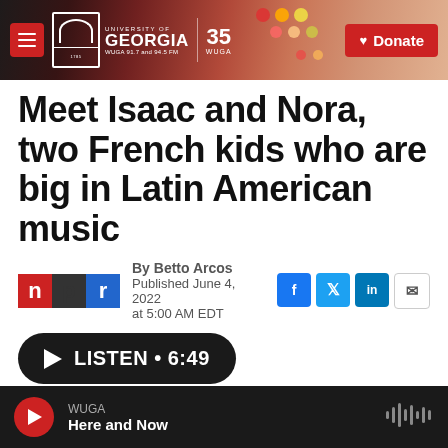University of Georgia WUGA 91.7 and 94.5 FM | 35 WUGA | Donate
Meet Isaac and Nora, two French kids who are big in Latin American music
By Betto Arcos
Published June 4, 2022 at 5:00 AM EDT
[Figure (other): NPR logo, social sharing buttons for Facebook, Twitter, LinkedIn, and email]
[Figure (other): Listen audio player button showing LISTEN • 6:49]
WUGA | Here and Now